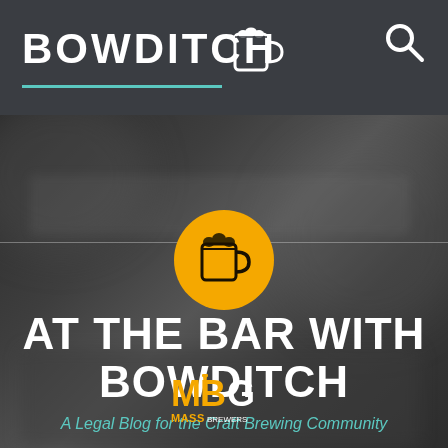BOWDITCH
[Figure (screenshot): Website header/hero image for 'At the Bar with Bowditch', a legal blog for the craft brewing community. Dark grayscale blurred background showing bar/brewing equipment. Orange circle with beer mug icon in center. Text overlay reads 'AT THE BAR WITH BOWDITCH' and subtitle 'A Legal Blog for the Craft Brewing Community'. MBG Mass Brewers Guild logo at bottom.]
AT THE BAR WITH BOWDITCH
A Legal Blog for the Craft Brewing Community